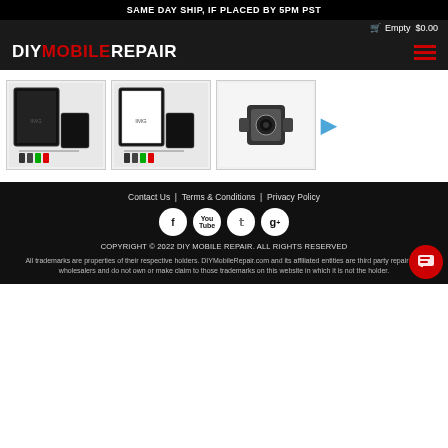SAME DAY SHIP, IF PLACED BY 5PM PST
Empty $0.00
DIYMOBILEREPAIR
[Figure (photo): Product thumbnail 1: Black box with iPhone screen repair kit and tools]
[Figure (photo): Product thumbnail 2: Black box with iPhone screen repair kit and tools (white variant)]
[Figure (photo): Product thumbnail 3: iPhone rear camera module]
Contact Us | Terms & Conditions | Privacy Policy
COPYRIGHT © 2022 DIY MOBILE REPAIR. ALL RIGHTS RESERVED
All trademarks are properties of their respective holders. DIYMobileRepair.com and its affiliated entities are third party repair part wholesalers and do not own or make claim to those trademarks on this website in which it is not the holder.